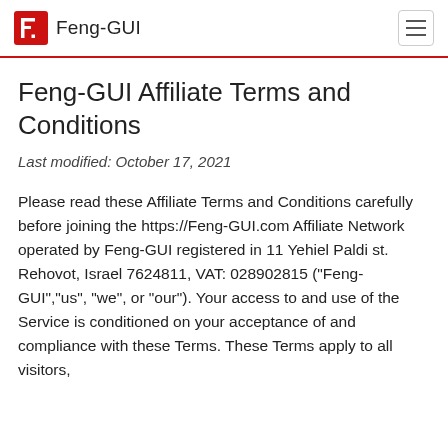Feng-GUI
Feng-GUI Affiliate Terms and Conditions
Last modified: October 17, 2021
Please read these Affiliate Terms and Conditions carefully before joining the https://Feng-GUI.com Affiliate Network operated by Feng-GUI registered in 11 Yehiel Paldi st. Rehovot, Israel 7624811, VAT: 028902815 ("Feng-GUI","us", "we", or "our"). Your access to and use of the Service is conditioned on your acceptance of and compliance with these Terms. These Terms apply to all visitors,